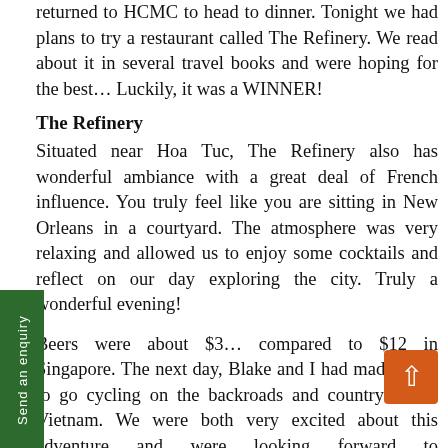returned to HCMC to head to dinner. Tonight we had plans to try a restaurant called The Refinery. We read about it in several travel books and were hoping for the best… Luckily, it was a WINNER!
The Refinery
Situated near Hoa Tuc, The Refinery also has wonderful ambiance with a great deal of French influence. You truly feel like you are sitting in New Orleans in a courtyard. The atmosphere was very relaxing and allowed us to enjoy some cocktails and reflect on our day exploring the city. Truly a wonderful evening!
Beers were about $3… compared to $12 in Singapore. The next day, Blake and I had made plans to go cycling on the backroads and countryside of Vietnam. We were both very excited about this adventure and were looking forward to experiencing Vietnam. We booked our excursion through Vietnam Backroads, whom we would highly recommend. Here